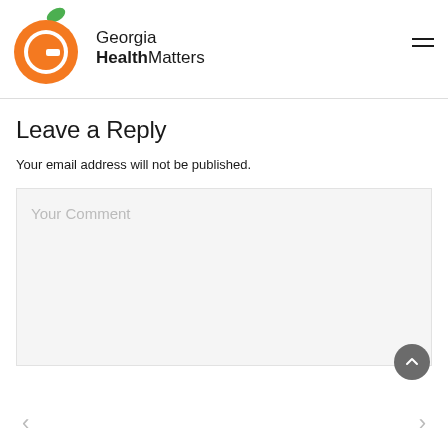[Figure (logo): Georgia HealthMatters logo with orange peach/G shape and green leaf]
Leave a Reply
Your email address will not be published.
Your Comment